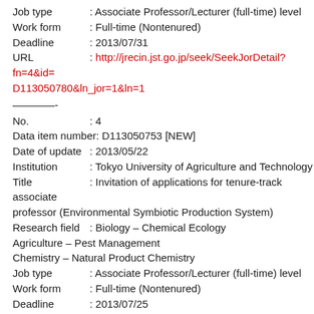Job type : Associate Professor/Lecturer (full-time) level
Work form : Full-time (Nontenured)
Deadline : 2013/07/31
URL : http://jrecin.jst.go.jp/seek/SeekJorDetail?fn=4&id=D113050780&ln_jor=1&ln=1
————-
No. : 4
Data item number : D113050753 [NEW]
Date of update : 2013/05/22
Institution : Tokyo University of Agriculture and Technology
Title : Invitation of applications for tenure-track associate professor (Environmental Symbiotic Production System)
Research field : Biology – Chemical Ecology
Agriculture – Pest Management
Chemistry – Natural Product Chemistry
Job type : Associate Professor/Lecturer (full-time) level
Work form : Full-time (Nontenured)
Deadline : 2013/07/25
URL : http://jrecin.jst.go.jp/seek/SeekJorDetail?fn=4&id=